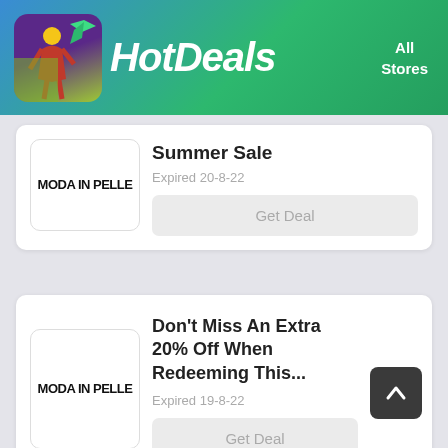HotDeals  All Stores
Moda In Pelle Summer Sale
Expired 20-8-22
Get Deal
Don't Miss An Extra 20% Off When Redeeming This...
Expired 19-8-22
Get Deal